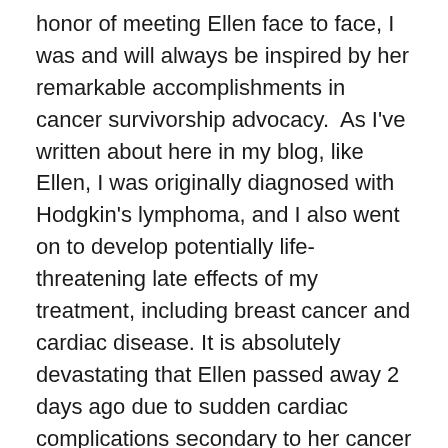honor of meeting Ellen face to face, I was and will always be inspired by her remarkable accomplishments in cancer survivorship advocacy.  As I've written about here in my blog, like Ellen, I was originally diagnosed with Hodgkin's lymphoma, and I also went on to develop potentially life-threatening late effects of my treatment, including breast cancer and cardiac disease. It is absolutely devastating that Ellen passed away 2 days ago due to sudden cardiac complications secondary to her cancer treatments. Her passion and commitment touched so many lives, and her legacy will continue–a legacy of ensuring that cancer survivors are able to become true partners in their medical care and that shared decision-making with their medical team will help to prevent or mitigate such life-threatening late effects for many cancer patients. My first major focus as an advocate was the need for improved cancer